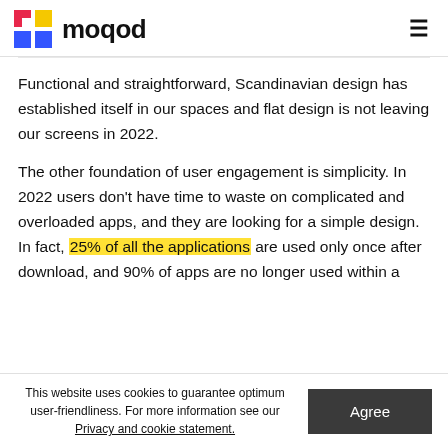[Figure (logo): moqod logo with colorful grid icon and wordmark]
Functional and straightforward, Scandinavian design has established itself in our spaces and flat design is not leaving our screens in 2022.
The other foundation of user engagement is simplicity. In 2022 users don't have time to waste on complicated and overloaded apps, and they are looking for a simple design. In fact, 25% of all the applications are used only once after download, and 90% of apps are no longer used within a
This website uses cookies to guarantee optimum user-friendliness. For more information see our Privacy and cookie statement.